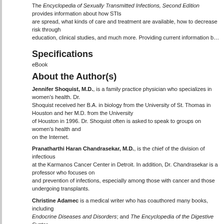The Encyclopedia of Sexually Transmitted Infections, Second Edition provides information about how STIs are spread, what kinds of care and treatment are available, how to decrease risk through education, clinical studies, and much more. Providing current information b…
Specifications
eBook
About the Author(s)
Jennifer Shoquist, M.D., is a family practice physician who specializes in women's health. Dr. Shoquist received her B.A. in biology from the University of St. Thomas in Houston and her M.D. from the University of Houston in 1996. Dr. Shoquist often is asked to speak to groups on women's health and on the Internet.
Pranatharthi Haran Chandrasekar, M.D., is the chief of the division of infectious diseases at the Karmanos Cancer Center in Detroit. In addition, Dr. Chandrasekar is a professor and focuses on the treatment and prevention of infections, especially among those with cancer and those undergoing organ transplants.
Christine Adamec is a medical writer who has coauthored many books, including The Encyclopedia of Endocrine Diseases and Disorders; and The Encyclopedia of the Digestive System and Digestive Diseases; three editions of The Encyclopedia of Child Abuse and three editions of The Encyclopedia of Alcoholism for Dummies, Prostate Cancer for Dummies, and How to Stop Heartburn.
Diane Stafford is a respected health writer who has won awards for her work and has written in various capacities for a number of magazines, including Houston Health & Fitness. Women's health issues have been the focus of her writing career. She has written more than 1,000 articles.